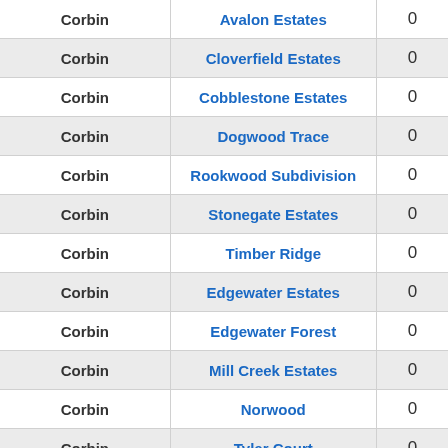| Corbin | Avalon Estates | 0 |
| Corbin | Cloverfield Estates | 0 |
| Corbin | Cobblestone Estates | 0 |
| Corbin | Dogwood Trace | 0 |
| Corbin | Rookwood Subdivision | 0 |
| Corbin | Stonegate Estates | 0 |
| Corbin | Timber Ridge | 0 |
| Corbin | Edgewater Estates | 0 |
| Corbin | Edgewater Forest | 0 |
| Corbin | Mill Creek Estates | 0 |
| Corbin | Norwood | 0 |
| Corbin | Tyler Court | 0 |